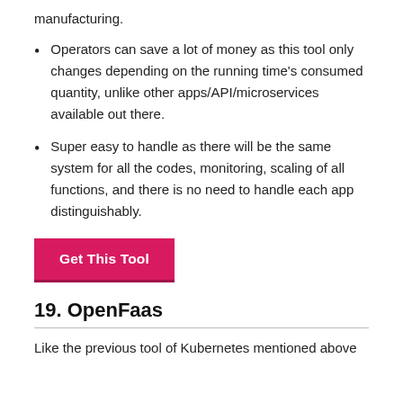manufacturing.
Operators can save a lot of money as this tool only changes depending on the running time's consumed quantity, unlike other apps/API/microservices available out there.
Super easy to handle as there will be the same system for all the codes, monitoring, scaling of all functions, and there is no need to handle each app distinguishably.
Get This Tool
19. OpenFaas
Like the previous tool of Kubernetes mentioned above